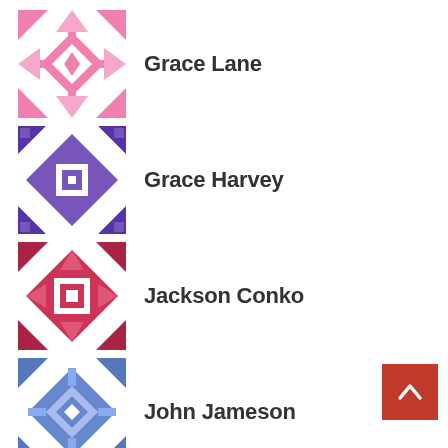Grace Lane
Grace Harvey
Jackson Conko
John Jameson
Joe Mumola
Jack O'Malley
Jessica Sanchez-Rivera